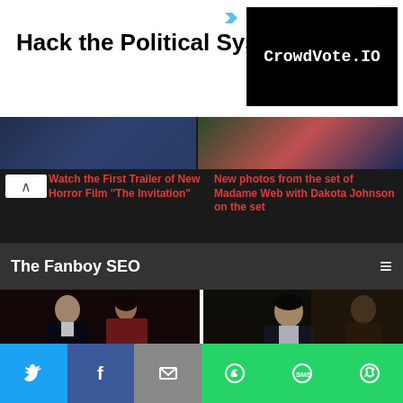[Figure (screenshot): Advertisement banner: 'Hack the Political System.' with CrowdVote.IO logo on black background]
The Fanboy SEO
[Figure (photo): Partially visible article images at top of page showing movie scenes]
Watch the First Trailer of New Horror Film "The Invitation"
New photos from the set of Madame Web with Dakota Johnson on the set
[Figure (photo): Photo of couple in formal wear from The Invitation movie - man in suit, woman in red dress]
"The Invitation" - Horror Told From a Female Perspective (Opens Aug 24)
[Figure (photo): Photo of Thomas Doherty smiling in suit from The Invitation]
Thomas Doherty, the Mysterious Lord of the Manor in "The Invitation" (Opens Aug 24)
[Figure (infographic): Social sharing bar with Twitter, Facebook, Email, WhatsApp, SMS, and More buttons]